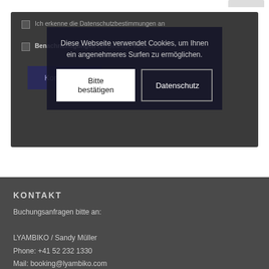Diese Webseite verwendet Cookies, um Ihnen ein angenehmeres Surfen zu ermöglichen.
Bitte bestätigen
Datenschutz
Ich erkenne die Datenschutzbestimmungen an
Benachrichtigungen bei Beiträge via E-Mail.
Kommentar
KONTAKT
Buchungsanfragen bitte an:
LYAMBIKO / Sandy Müller
Phone: +41 52 232 1330
Mail: booking@lyambiko.com